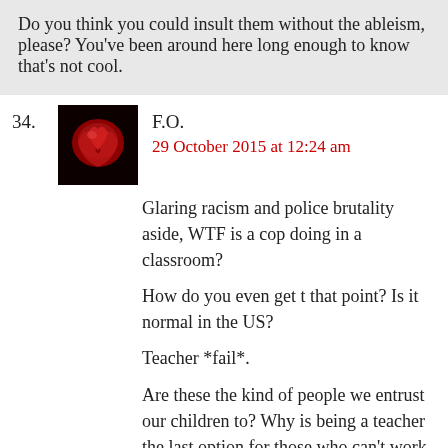Do you think you could insult them without the ableism, please? You've been around here long enough to know that's not cool.
34. F.O.
29 October 2015 at 12:24 am
Glaring racism and police brutality aside, WTF is a cop doing in a classroom?
How do you even get t that point? Is it normal in the US?
Teacher *fail*.
Are these the kind of people we entrust our children to? Why is being a teacher the last option for those who can't work elsewhere?